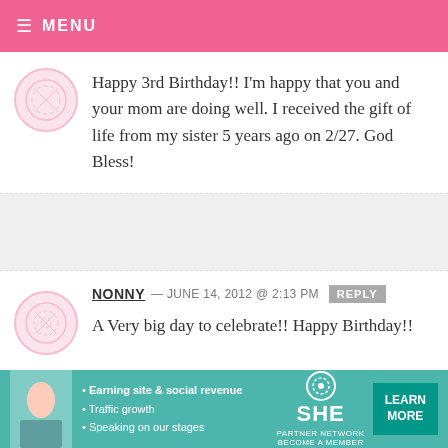MENU
Happy 3rd Birthday!! I'm happy that you and your mom are doing well. I received the gift of life from my sister 5 years ago on 2/27. God Bless!
NONNY — JUNE 14, 2012 @ 2:13 PM
A Very big day to celebrate!! Happy Birthday!!
[Figure (infographic): SHE Partner Network advertisement banner with woman photo, bullet points about Earning site & social revenue, Traffic growth, Speaking on our stages, and a LEARN MORE button]